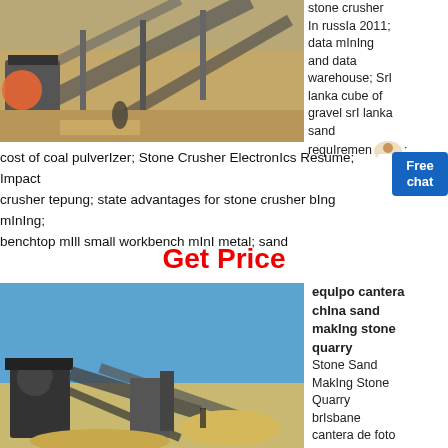[Figure (photo): Aerial view of a stone crushing and mining plant with conveyor belts, machinery, and gravel/sand piles]
stone crusher in russia 2011; data mining and data warehouse; Sri lanka cube of gravel sri lanka sand requirements;
cost of coal pulverizer; Stone Crusher Electronics Resume; Impact crusher tepung; state advantages for stone crusher bing mining; benchtop mill small workbench mini metal; sand
Get Price
[Figure (photo): Stone quarry with crushing equipment, conveyors, and machinery against a blue sky]
equipo cantera china sand making stone quarry
Stone Sand Making Stone Quarry brisbane cantera de foto